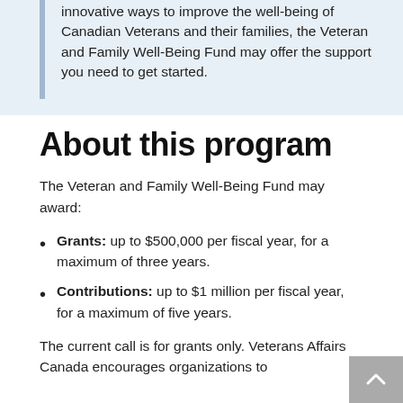innovative ways to improve the well-being of Canadian Veterans and their families, the Veteran and Family Well-Being Fund may offer the support you need to get started.
About this program
The Veteran and Family Well-Being Fund may award:
Grants: up to $500,000 per fiscal year, for a maximum of three years.
Contributions: up to $1 million per fiscal year, for a maximum of five years.
The current call is for grants only. Veterans Affairs Canada encourages organizations to